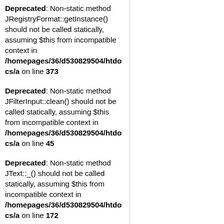Deprecated: Non-static method JRegistryFormat::getInstance() should not be called statically, assuming $this from incompatible context in /homepages/36/d530829504/htdocs/a on line 373
Deprecated: Non-static method JFilterInput::clean() should not be called statically, assuming $this from incompatible context in /homepages/36/d530829504/htdocs/a on line 45
Deprecated: Non-static method JText::_() should not be called statically, assuming $this from incompatible context in /homepages/36/d530829504/htdocs/a on line 172
Deprecated: Non-static method JFactory::getLanguage() should not be called statically, assuming $this from incompatible context in /homepages/36/d530829504/htdocs/a on line 120